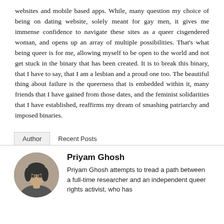websites and mobile based apps. While, many question my choice of being on dating website, solely meant for gay men, it gives me immense confidence to navigate these sites as a queer cisgendered woman, and opens up an array of multiple possibilities. That's what being queer is for me, allowing myself to be open to the world and not get stuck in the binary that has been created. It is to break this binary, that I have to say, that I am a lesbian and a proud one too. The beautiful thing about failure is the queerness that is embedded within it, many friends that I have gained from those dates, and the feminist solidarities that I have established, reaffirms my dream of smashing patriarchy and imposed binaries.
Author | Recent Posts
[Figure (photo): Circular black-and-white photo of Priyam Ghosh, a woman with dark hair, resting her chin on her hand, appearing thoughtful.]
Priyam Ghosh
Priyam Ghosh attempts to tread a path between a full-time researcher and an independent queer rights activist, who has